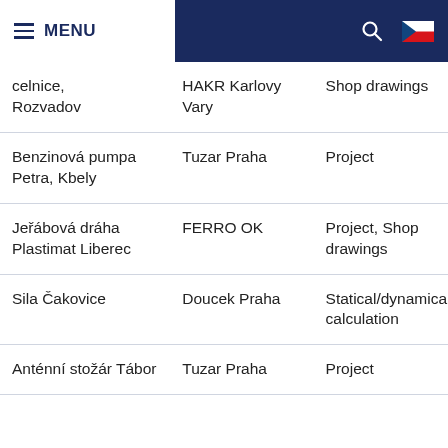MENU
| Object | Client | Service |
| --- | --- | --- |
| celnice, Rozvadov | HAKR Karlovy Vary | Shop drawings |
| Benzinová pumpa Petra, Kbely | Tuzar Praha | Project |
| Jeřábová dráha Plastimat Liberec | FERRO OK | Project, Shop drawings |
| Sila Čakovice | Doucek Praha | Statical/dynamical calculation |
| Anténní stožár Tábor | Tuzar Praha | Project |